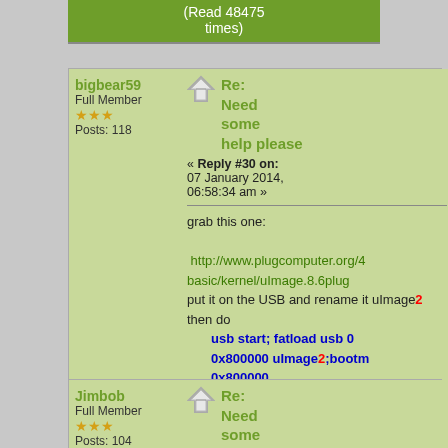(Read 48475 times)
bigbear59
Full Member
★★★
Posts: 118
Re: Need some help please
« Reply #30 on: 07 January 2014, 06:58:34 am »

grab this one:

http://www.plugcomputer.org/4basic/kernel/uImage.8.6plug
put it on the USB and rename it uImage2
then do
    usb start; fatload usb 0 0x800000 uImage2;bootm 0x800000

Logged

Cheers,
BigBear59
Jimbob
Full Member
★★★
Posts: 104
Re: Need some help please
« Reply #31 on: